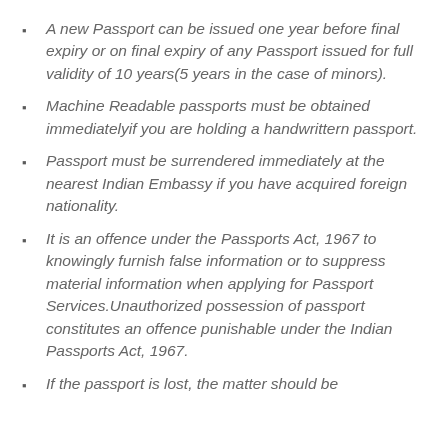A new Passport can be issued one year before final expiry or on final expiry of any Passport issued for full validity of 10 years(5 years in the case of minors).
Machine Readable passports must be obtained immediatelyif you are holding a handwrittern passport.
Passport must be surrendered immediately at the nearest Indian Embassy if you have acquired foreign nationality.
It is an offence under the Passports Act, 1967 to knowingly furnish false information or to suppress material information when applying for Passport Services.Unauthorized possession of passport constitutes an offence punishable under the Indian Passports Act, 1967.
If the passport is lost, the matter should be